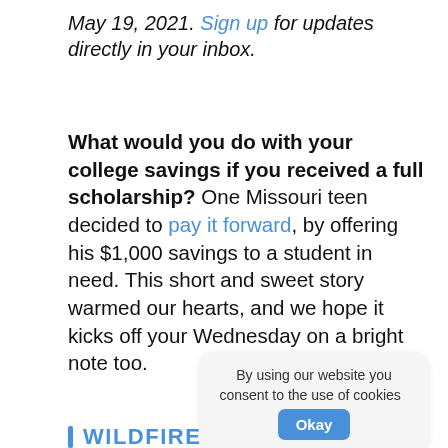May 19, 2021. Sign up for updates directly in your inbox.
What would you do with your college savings if you received a full scholarship? One Missouri teen decided to pay it forward, by offering his $1,000 savings to a student in need. This short and sweet story warmed our hearts, and we hope it kicks off your Wednesday on a bright note too.
By using our website you consent to the use of cookies  Okay
WILDFIRES